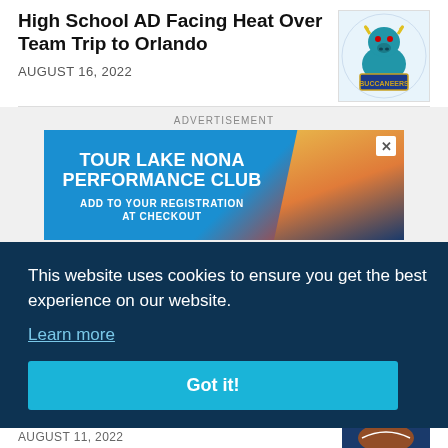High School AD Facing Heat Over Team Trip to Orlando
AUGUST 16, 2022
[Figure (illustration): Blue bull mascot logo with 'Buccaneers' text on gold trim]
ADVERTISEMENT
[Figure (infographic): Advertisement banner: TOUR LAKE NONA PERFORMANCE CLUB - ADD TO YOUR REGISTRATION AT CHECKOUT, with building photo and colorful geometric background]
This website uses cookies to ensure you get the best experience on our website.
Learn more
Got it!
AUGUST 11, 2022
[Figure (illustration): Dark blue background with EWS text in yellow, partial football image]